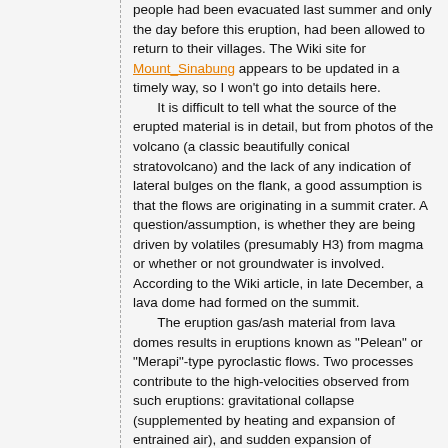people had been evacuated last summer and only the day before this eruption, had been allowed to return to their villages. The Wiki site for Mount_Sinabung appears to be updated in a timely way, so I won't go into details here.

It is difficult to tell what the source of the erupted material is in detail, but from photos of the volcano (a classic beautifully conical stratovolcano) and the lack of any indication of lateral bulges on the flank, a good assumption is that the flows are originating in a summit crater. A question/assumption, is whether they are being driven by volatiles (presumably H3) from magma or whether or not groundwater is involved. According to the Wiki article, in late December, a lava dome had formed on the summit.

The eruption gas/ash material from lava domes results in eruptions known as "Pelean" or "Merapi"-type pyroclastic flows. Two processes contribute to the high-velocities observed from such eruptions: gravitational collapse (supplemented by heating and expansion of entrained air), and sudden expansion of pressurized gases from inside the domes. If gravity controls the energy transfer, then areas affected can be predicted on the basis of topography. If gas expansion adds a significant contribution, which is likely in the proximal region around a dome, then velocities beyond those acquired by acceleration in a gravitational field